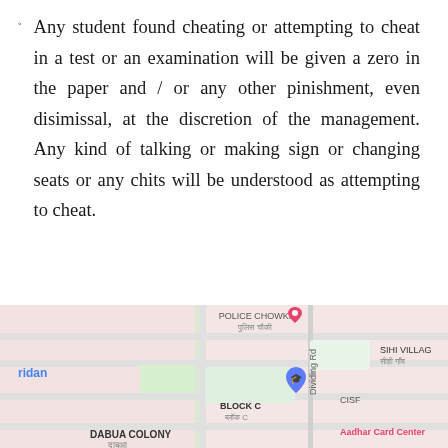Any student found cheating or attempting to cheat in a test or an examination will be given a zero in the paper and / or any other pinishment, even disimissal, at the discretion of the management. Any kind of talking or making sign or changing seats or any chits will be understood as attempting to cheat.
[Figure (map): Google Maps screenshot showing a street map with labels: Police Chowki (पुलिस चौकी), SIHI VILLAG (सीही गाँव), ridan, Dividing Rd, CISF, BLOCK C (ब्लॉक C), DABUA COLONY (दाबुआ), Aadhar Card Center, a school/graduation cap map pin marker.]